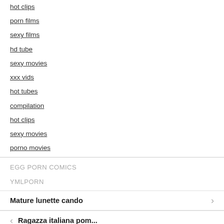hot clips
porn films
sexy films
hd tube
sexy movies
xxx vids
hot tubes
compilation
hot clips
sexy movies
porno movies
EGG PORN COMICS
YMLPORN
Mature lunette cando
Ragazza italiana pom...